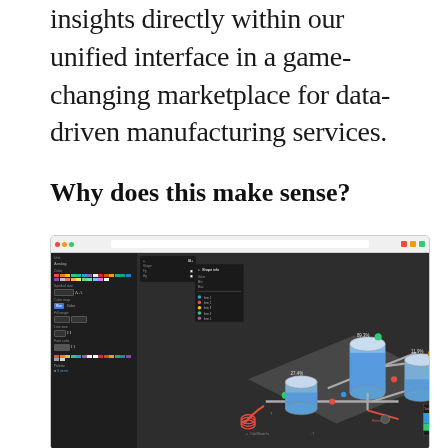insights directly within our unified interface in a game-changing marketplace for data-driven manufacturing services.
Why does this make sense?
[Figure (screenshot): Browser screenshot of a unified industrial process monitoring interface showing an isometric diagram of tanks, pipes and valves with percentage labels (89.3%, 27.4%, 11.9%) and a dark sidebar with color palette controls and settings panels.]